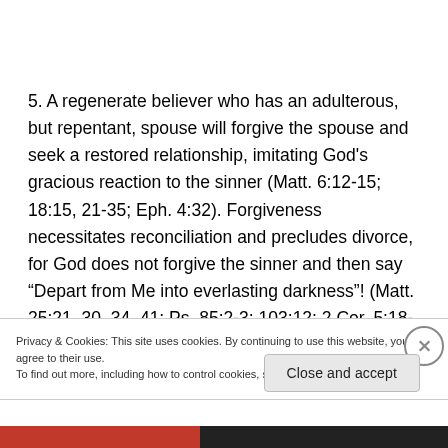5. A regenerate believer who has an adulterous, but repentant, spouse will forgive the spouse and seek a restored relationship, imitating God's gracious reaction to the sinner (Matt. 6:12-15; 18:15, 21-35; Eph. 4:32). Forgiveness necessitates reconciliation and precludes divorce, for God does not forgive the sinner and then say “Depart from Me into everlasting darkness”! (Matt. 25:21, 30, 34, 41; Ps. 85:2-3; 103:12; 2 Cor. 5:18-19; Col. 1:21-
Privacy & Cookies: This site uses cookies. By continuing to use this website, you agree to their use.
To find out more, including how to control cookies, see here: Cookie Policy
Close and accept